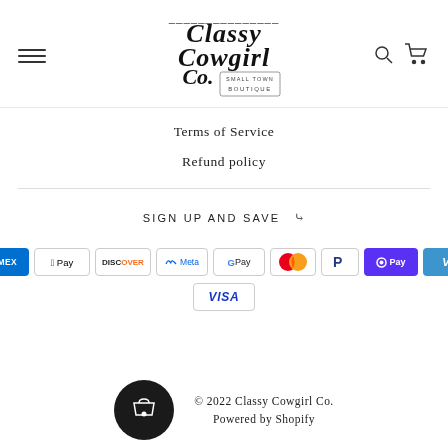[Figure (logo): Classy Cowgirl Co. Small Town Boutique decorative script logo with hamburger menu icon on left and search/cart icons on right]
Terms of Service
Refund policy
SIGN UP AND SAVE
[Figure (infographic): Row of payment method badges: American Express, Apple Pay, Discover, Meta Pay, Google Pay, Mastercard, PayPal, OPay, Venmo, Visa]
© 2022 Classy Cowgirl Co.
Powered by Shopify